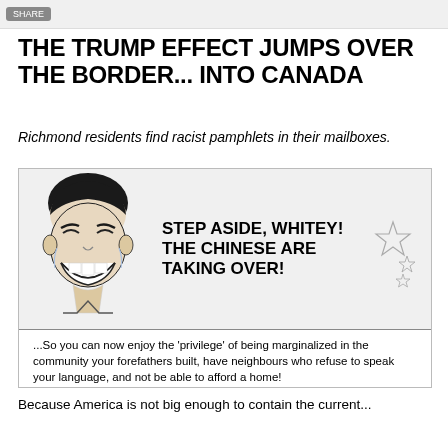SHARE
THE TRUMP EFFECT JUMPS OVER THE BORDER... INTO CANADA
Richmond residents find racist pamphlets in their mailboxes.
[Figure (photo): A racist pamphlet featuring a caricature drawing of a laughing Asian man ("Yao Ming" meme face) with bold text reading 'STEP ASIDE, WHITEY! THE CHINESE ARE TAKING OVER!' and stars, with smaller text below reading '...So you can now enjoy the 'privilege' of being marginalized in the community your forefathers built, have neighbours who refuse to speak your language, and not be able to afford a home!']
Because America is not big enough to contain the current...